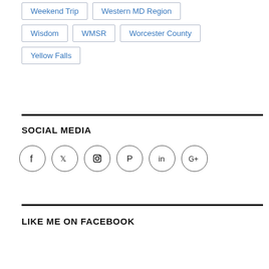Weekend Trip
Western MD Region
Wisdom
WMSR
Worcester County
Yellow Falls
SOCIAL MEDIA
[Figure (infographic): Row of 6 social media icons in circles: Facebook, Twitter, Instagram, Pinterest, LinkedIn, Google+]
LIKE ME ON FACEBOOK